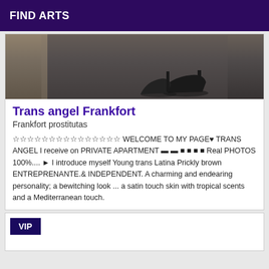FIND ARTS
[Figure (photo): Cropped photo showing legs and high-heel shoes on a carpet floor, dark background]
Trans angel Frankfort
Frankfort prostitutas
☆☆☆☆☆☆☆☆☆☆☆☆☆☆☆ WELCOME TO MY PAGE♥ TRANS ANGEL I receive on PRIVATE APARTMENT ▬ ▬ ■ ■ ■ ■ Real PHOTOS 100%.... ► I introduce myself Young trans Latina Prickly brown ENTREPRENANTE.& INDEPENDENT. A charming and endearing personality; a bewitching look ... a satin touch skin with tropical scents and a Mediterranean touch.
VIP